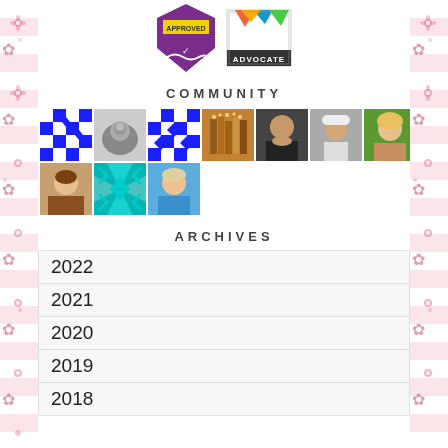[Figure (illustration): Two badge images at top: a purple 'APPROVED' badge with a checkmark design, and a colorful 'ADVOCATE' badge with geometric shapes.]
COMMUNITY
[Figure (photo): A grid of 10 community member thumbnails: blue and white quilt pattern, black and white portrait, blue and white quilt pattern, books with lights, man in dark shirt, man in white cap, woman smiling in field, woman in vintage style, teal geometric quilt pattern, and woman smiling.]
ARCHIVES
2022
2021
2020
2019
2018